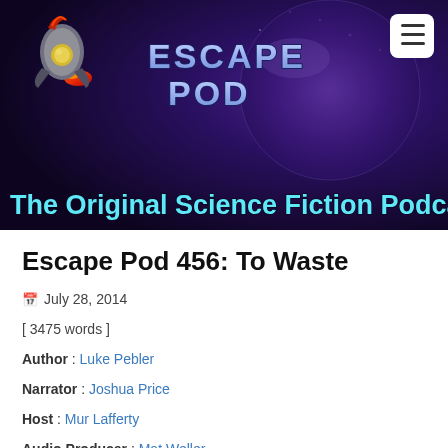[Figure (logo): Escape Pod podcast banner with rocket logo, planet, and purple space background. Tagline: The Original Science Fiction Podcast]
Escape Pod 456: To Waste
July 28, 2014
[ 3475 words ]
Author : Luke Pebler
Narrator : Joshua Price
Host : Mur Lafferty
Audio Producer : Mat Weller
Discuss on Forums
Escape Pod 456: To Waste is an Escape Pod original.
Contains a little foul language, some mature situations, and